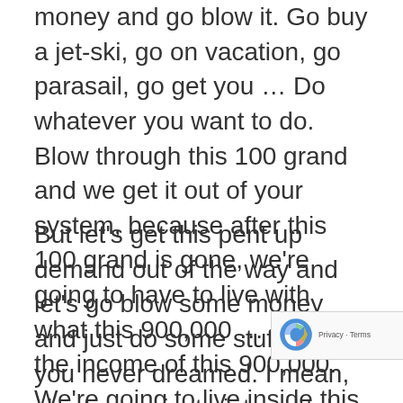money and go blow it. Go buy a jet-ski, go on vacation, go parasail, go get you … Do whatever you want to do. Blow through this 100 grand and we get it out of your system, because after this 100 grand is gone, we're going to have to live with what this 900,000 … within the income of this 900,000. We're going to live inside this budget.
But let's get this pent up demand out of the way and let's go blow some money and just do some stuff that you never dreamed. I mean, charter a private jet and take your extended family to camp through for the week on a private jet. Do all that kind of stuff and get it out of your system. And get to where, "Okay, done that, don't need to do again. It was great but … It cost extreme ridiculous amount of money and I don't need